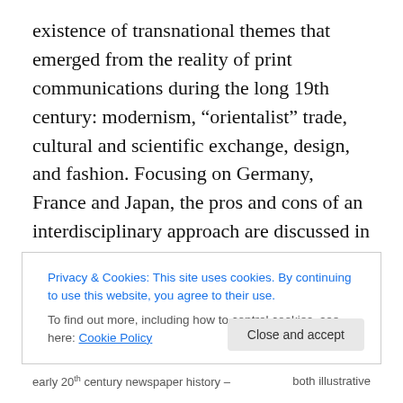existence of transnational themes that emerged from the reality of print communications during the long 19th century: modernism, “orientalist” trade, cultural and scientific exchange, design, and fashion. Focusing on Germany, France and Japan, the pros and cons of an interdisciplinary approach are discussed in relations to science periodicals in Europe, women’s uses of periodicals in the late nineteenth century, periodicals for ex-patriot communities and satirical publications.
Privacy & Cookies: This site uses cookies. By continuing to use this website, you agree to their use.
To find out more, including how to control cookies, see here: Cookie Policy
Close and accept
early 20ᵗʰ century newspaper history – both illustrative